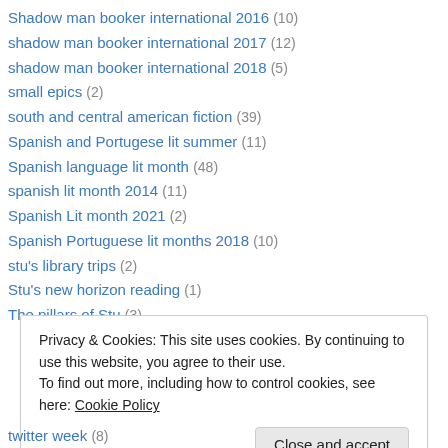Shadow man booker international 2016 (10)
shadow man booker international 2017 (12)
shadow man booker international 2018 (5)
small epics (2)
south and central american fiction (39)
Spanish and Portugese lit summer (11)
Spanish language lit month (48)
spanish lit month 2014 (11)
Spanish Lit month 2021 (2)
Spanish Portuguese lit months 2018 (10)
stu's library trips (2)
Stu's new horizon reading (1)
The pillars of Stu (3)
Privacy & Cookies: This site uses cookies. By continuing to use this website, you agree to their use.
To find out more, including how to control cookies, see here: Cookie Policy
twitter week (8)